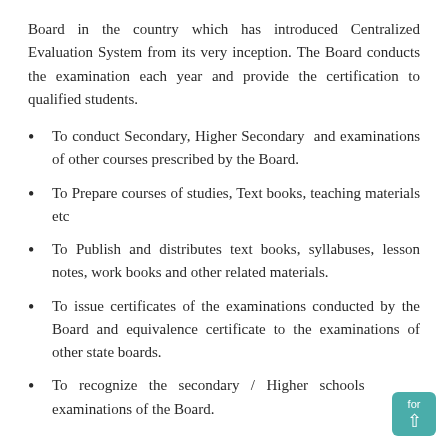Board in the country which has introduced Centralized Evaluation System from its very inception. The Board conducts the examination each year and provide the certification to qualified students.
To conduct Secondary, Higher Secondary and examinations of other courses prescribed by the Board.
To Prepare courses of studies, Text books, teaching materials etc
To Publish and distributes text books, syllabuses, lesson notes, work books and other related materials.
To issue certificates of the examinations conducted by the Board and equivalence certificate to the examinations of other state boards.
To recognize the secondary / Higher schools for examinations of the Board.